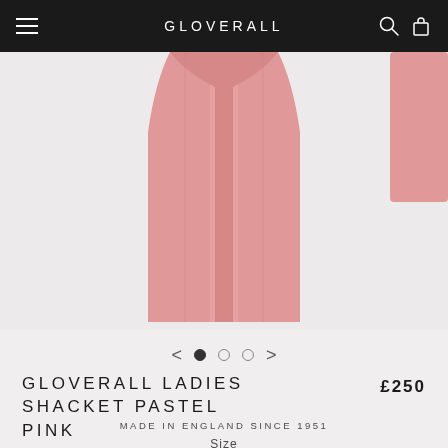GLOVERALL
[Figure (photo): Partial view of a pink ladies shacket (shirt-jacket) garment on a light grey background, cropped to show the lower portion of the coat.]
GLOVERALL LADIES SHACKET PASTEL PINK
£250
MADE IN ENGLAND SINCE 1951
Size